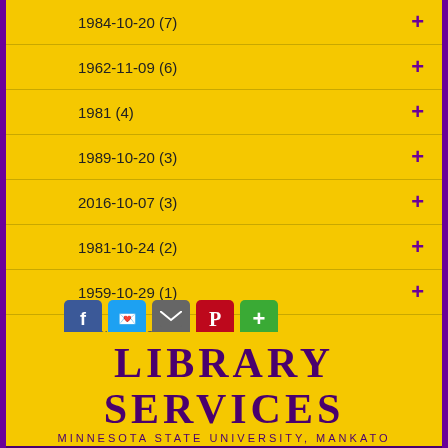1984-10-20 (7)
1962-11-09 (6)
1981 (4)
1989-10-20 (3)
2016-10-07 (3)
1981-10-24 (2)
1959-10-29 (1)
Show more
Sort
Relevancy ▲
[Figure (infographic): Social sharing icons: Facebook (blue), Twitter (light blue), Email (grey), Pinterest (red), More/Plus (green)]
LIBRARY SERVICES
MINNESOTA STATE UNIVERSITY, MANKATO